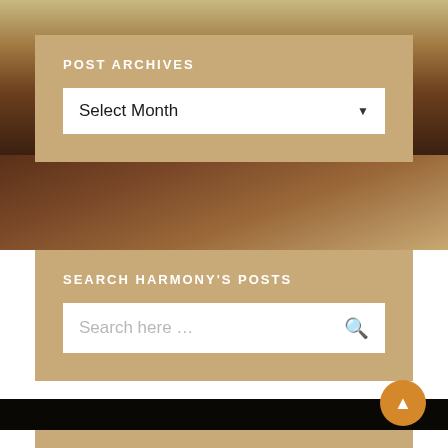[Figure (photo): Background photo of leather/wood objects, partially visible behind tan panels]
POST ARCHIVES
Select Month
SEARCH HARMONY'S POSTS
Search here …